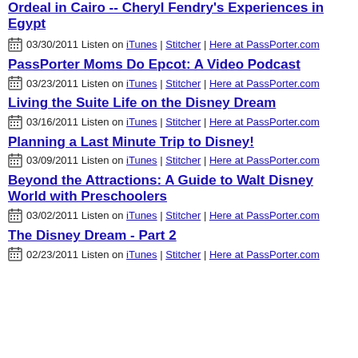Ordeal in Cairo -- Cheryl Fendry's Experiences in Egypt
03/30/2011 Listen on iTunes | Stitcher | Here at PassPorter.com
PassPorter Moms Do Epcot: A Video Podcast
03/23/2011 Listen on iTunes | Stitcher | Here at PassPorter.com
Living the Suite Life on the Disney Dream
03/16/2011 Listen on iTunes | Stitcher | Here at PassPorter.com
Planning a Last Minute Trip to Disney!
03/09/2011 Listen on iTunes | Stitcher | Here at PassPorter.com
Beyond the Attractions: A Guide to Walt Disney World with Preschoolers
03/02/2011 Listen on iTunes | Stitcher | Here at PassPorter.com
The Disney Dream - Part 2
02/23/2011 Listen on iTunes | Stitcher | Here at PassPorter.com